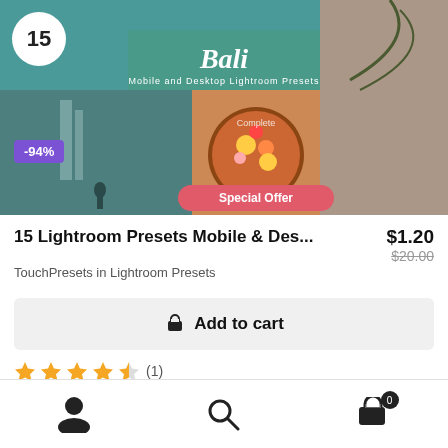[Figure (screenshot): Product image composite showing Bali Mobile and Desktop Lightroom Presets with waterfall, food bowl, and woman photos. Badge showing 15, -94% discount label, and Special Offer button.]
15 Lightroom Presets Mobile & Des...
TouchPresets in Lightroom Presets
$1.20
$20.00
Add to cart
★★★★☆ (1)
903/1000 left